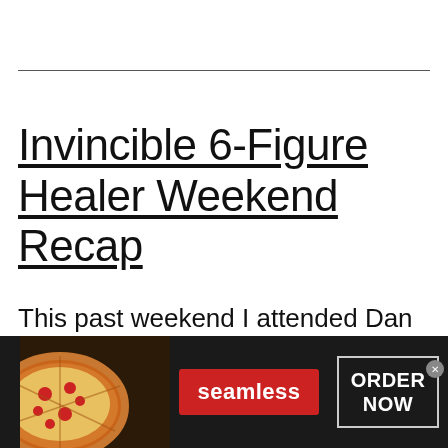Invincible 6-Figure Healer Weekend Recap
This past weekend I attended Dan Hanneman's Invincible 6-Figure Healer Weekend and it was amazing! I thought I
[Figure (other): Advertisement banner for Seamless food delivery service with pizza image on left, red Seamless logo in center, and 'ORDER NOW' button on right with close (x) button]